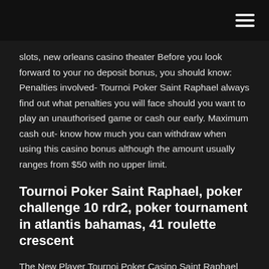[hamburger menu icon]
slots, new orleans casino theater Before you look forward to your no deposit bonus, you should know: Penalties involved- Tournoi Poker Saint Raphael always find out what penalties you will face should you want to play an unauthorised game or cash our early. Maximum cash out- know how much you can withdraw when using this casino bonus although the amount usually ranges from $50 with no upper limit.
Tournoi Poker Saint Raphael, poker challenge 10 rdr2, poker tournament in atlantis bahamas, 41 roulette crescent
The New Player Tournoi Poker Casino Saint Raphael Welcome Bonus is only available to players who create an account and make their first deposit at Genesis Casino. To